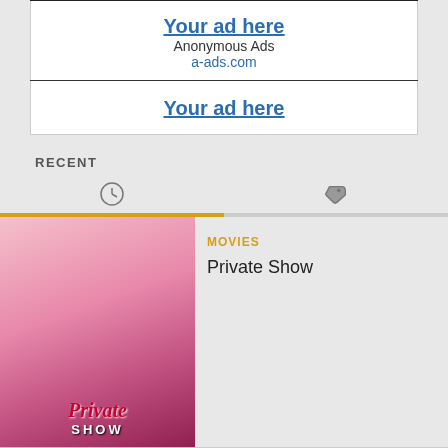[Figure (other): Advertisement banner: 'Your ad here' in bold blue underlined text, 'Anonymous Ads' in black, 'a-ads.com' in blue link text]
[Figure (other): Second advertisement banner: 'Your ad here' in bold blue underlined text]
RECENT
[Figure (other): Two tab icons: clock icon (active, with gold underline) and tag icon (inactive)]
[Figure (other): Movie thumbnail for 'Private Show' — pink adult movie cover with figures and italic 'Private SHOW' text]
MOVIES
Private Show
[Figure (other): Movie thumbnail for 'Bareback Deepest Yearnings' — brown toned adult movie cover with 'BARE BACK DEEPEST YEARNINGS' text]
MOVIES
Bareback Deepest Yearnings